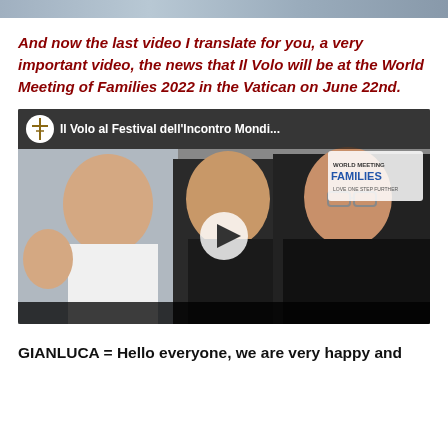[Figure (photo): Top image strip - partial image at top of page]
And now the last video I translate for you, a very important video, the news that Il Volo will be at the World Meeting of Families 2022 in the Vatican on June 22nd.
[Figure (screenshot): YouTube video thumbnail showing three young men (Il Volo members) with a play button overlay. Video title: 'Il Volo al Festival dell'Incontro Mondi...' with World Meeting of Families logo in top right corner.]
GIANLUCA = Hello everyone, we are very happy and